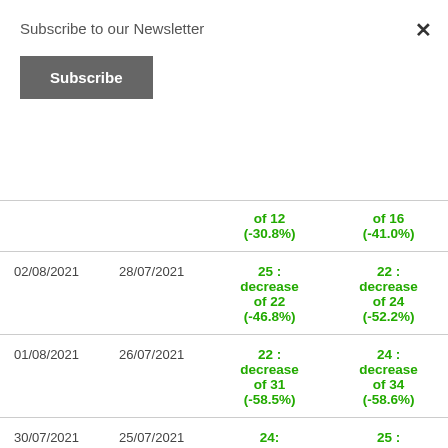Subscribe to our Newsletter
Subscribe
×
| Date | Date2 | Col3 | Col4 |
| --- | --- | --- | --- |
|  |  | of 12
(-30.8%) | of 16
(-41.0%) |
| 02/08/2021 | 28/07/2021 | 25 : decrease of 22 (-46.8%) | 22 : decrease of 24 (-52.2%) |
| 01/08/2021 | 26/07/2021 | 22 : decrease of 31 (-58.5%) | 24 : decrease of 34 (-58.6%) |
| 30/07/2021 | 25/07/2021 | 24: | 25 : |